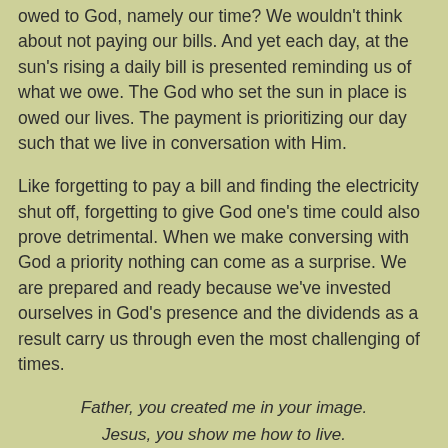owed to God, namely our time? We wouldn't think about not paying our bills. And yet each day, at the sun's rising a daily bill is presented reminding us of what we owe. The God who set the sun in place is owed our lives. The payment is prioritizing our day such that we live in conversation with Him.
Like forgetting to pay a bill and finding the electricity shut off, forgetting to give God one's time could also prove detrimental. When we make conversing with God a priority nothing can come as a surprise. We are prepared and ready because we've invested ourselves in God's presence and the dividends as a result carry us through even the most challenging of times.
Father, you created me in your image. Jesus, you show me how to live. Holy Spirit, you bring me comfort and guidance. I owe you my life. Today and every day I make time spent in your presence, my priority. Amen.